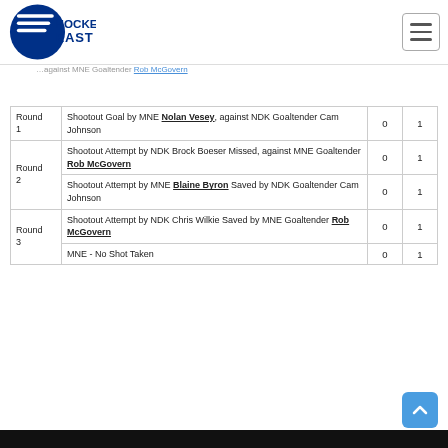Hockey East - Shootout Summary
Shootout Summary
| Round | Description | NDK | MNE |
| --- | --- | --- | --- |
| Round 1 | Shootout Goal by MNE Nolan Vesey, against NDK Goaltender Cam Johnson | 0 | 1 |
| Round 2 | Shootout Attempt by NDK Brock Boeser Missed, against MNE Goaltender Rob McGovern | 0 | 1 |
| Round 2 | Shootout Attempt by MNE Blaine Byron Saved by NDK Goaltender Cam Johnson | 0 | 1 |
| Round 3 | Shootout Attempt by NDK Chris Wilkie Saved by MNE Goaltender Rob McGovern | 0 | 1 |
| Round 3 | MNE - No Shot Taken | 0 | 1 |